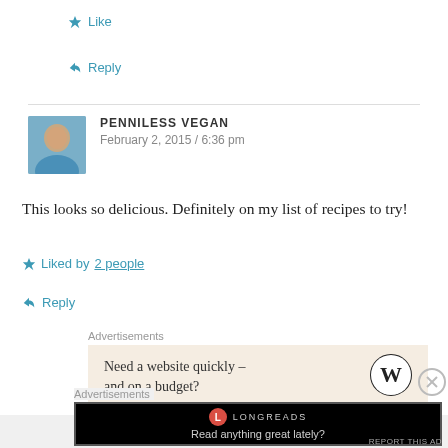Like
Reply
PENNILESS VEGAN
February 2, 2015 / 6:36 pm
This looks so delicious. Definitely on my list of recipes to try!
Liked by 2 people
Reply
Advertisements
[Figure (other): Advertisement banner: Need a website quickly – and on a budget? with WordPress logo]
Advertisements
[Figure (other): Longreads advertisement: Read anything great lately?]